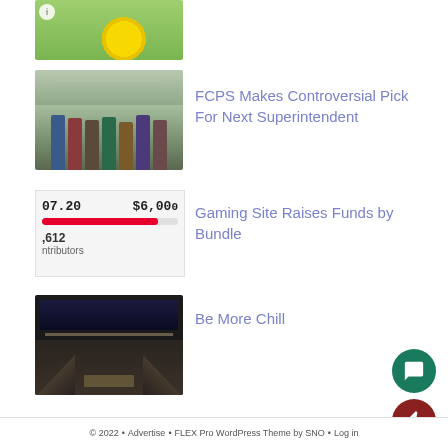[Figure (photo): Partial view of a hand holding a yellow flower against green grass background]
[Figure (photo): Group of students outdoors holding protest signs reading 'Students Deserve A Voice']
FCPS Makes Controversial Pick For Next Superintendent
[Figure (other): Fundraising widget showing amount raised $07.20 toward goal of $6,000 with a red progress bar and 612 contributors]
Gaming Site Raises Funds by Bundle
[Figure (photo): Theater stage with dark lighting, steps on each side, and a lit center platform]
Be More Chill
© 2022 • Advertise • FLEX Pro WordPress Theme by SNO • Log in